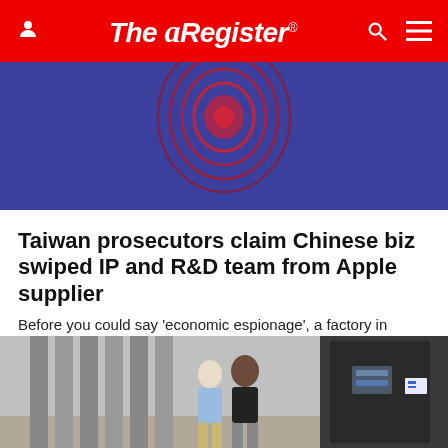The Register
[Figure (illustration): Blue background with red fingerprint/globe graphic]
Taiwan prosecutors claim Chinese biz swiped IP and R&D team from Apple supplier
Before you could say 'economic espionage', a factory in China was making bits of iThings
PERSONAL TECH  2 months | 10
[Figure (photo): Two people walking through a server room data center corridor]